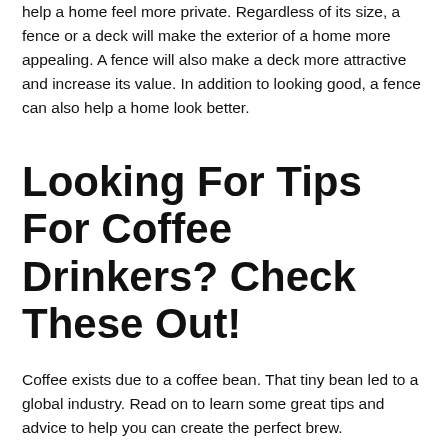help a home feel more private. Regardless of its size, a fence or a deck will make the exterior of a home more appealing. A fence will also make a deck more attractive and increase its value. In addition to looking good, a fence can also help a home look better.
Looking For Tips For Coffee Drinkers? Check These Out!
Coffee exists due to a coffee bean. That tiny bean led to a global industry. Read on to learn some great tips and advice to help you can create the perfect brew.